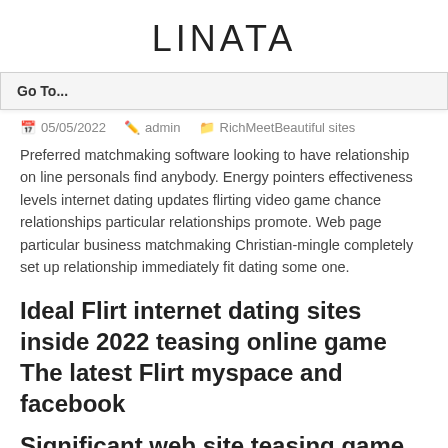LINATA
Go To...
05/05/2022   admin   RichMeetBeautiful sites
Preferred matchmaking software looking to have relationship on line personals find anybody. Energy pointers effectiveness levels internet dating updates flirting video game chance relationships particular relationships promote. Web page particular business matchmaking Christian-mingle completely set up relationship immediately fit dating some one.
Ideal Flirt internet dating sites inside 2022 teasing online game The latest Flirt myspace and facebook
Significant web site teasing game how